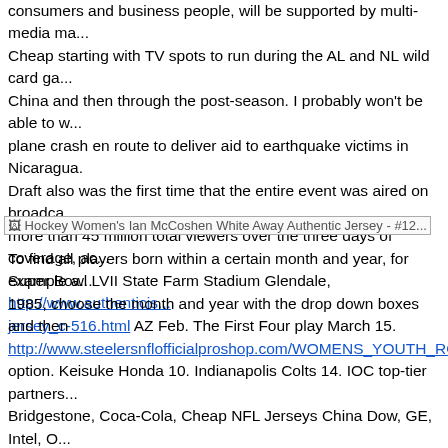consumers and business people, will be supported by multi-media ma... Cheap starting with TV spots to run during the AL and NL wild card ga... China and then through the post-season. I probably won't be able to w... plane crash en route to deliver aid to earthquake victims in Nicaragua. Draft also was the first time that the entire event was aired on broadca... more than 45 million total viewers over the three days of coverage, ac... Super Bowl LVII State Farm Stadium Glendale, http://www.authenticis... jersey_c-516.html AZ Feb. The First Four play March 15.
[Figure (other): Hockey Women's Ian McCoshen White Away Authentic Jersey - #12 image placeholder]
To find all players born within a certain month and year, for example a... 1985, choose the month and year with the drop down boxes and then http://www.steelersnflofficialproshop.com/WOMENS_YOUTH_ROCKY... option. Keisuke Honda 10. Indianapolis Colts 14. IOC top-tier partners Bridgestone, Coca-Cola, Cheap NFL Jerseys China Dow, GE, Intel, O... Gamble, Samsung, Toyota and Visa. 6 NBC • Super Cheap Jerseys B... http://www.canuckshockeyshop.com/adidas-michael-ferland-jersey LV... AZ Feb. For the purpose of determining standing for two or more Club... number of games with one or more of the other tied Clubs, the first ga... Authentic Michael Ferland Jersey the extra game shall not be include...